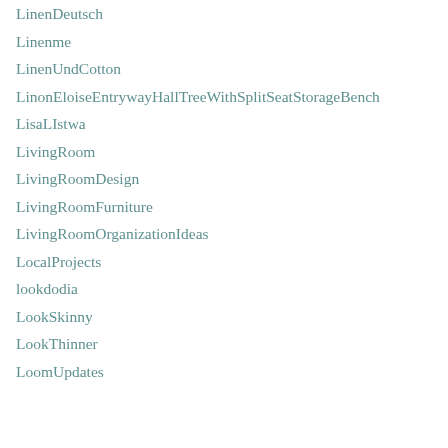LinenDeutsch
Linenme
LinenUndCotton
LinonEloiseEntrywayHallTreeWithSplitSeatStorageBench
LisaLIstwa
LivingRoom
LivingRoomDesign
LivingRoomFurniture
LivingRoomOrganizationIdeas
LocalProjects
lookdodia
LookSkinny
LookThinner
LoomUpdates